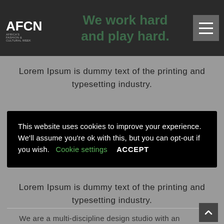We work hard and play hard.
Lorem Ipsum is dummy text of the printing and typesetting industry.
This website uses cookies to improve your experience. We'll assume you're ok with this, but you can opt-out if you wish. Cookie settings ACCEPT
Lorem Ipsum is dummy text of the printing and typesetting industry.
We are a multi-discipline design studio with an